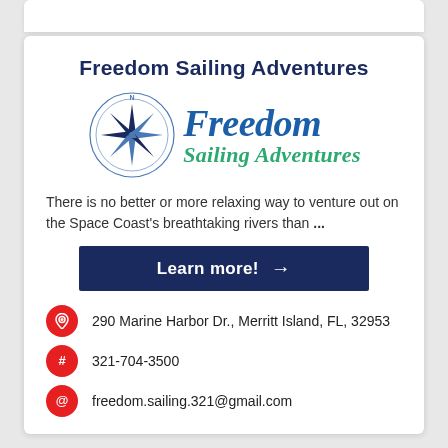Freedom Sailing Adventures
[Figure (logo): Freedom Sailing Adventures logo with compass rose and cursive 'Freedom' text in blue and 'Sailing Adventures' in green]
There is no better or more relaxing way to venture out on the Space Coast's breathtaking rivers than ...
Learn more! →
290 Marine Harbor Dr., Merritt Island, FL, 32953
321-704-3500
freedom.sailing.321@gmail.com